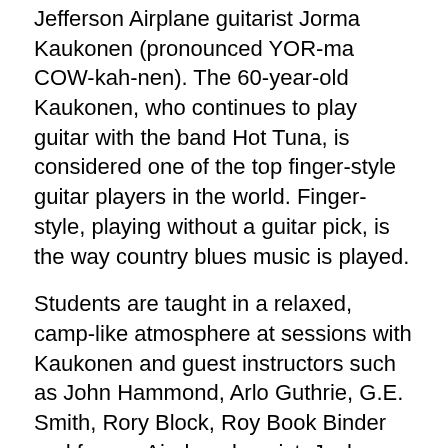Jefferson Airplane guitarist Jorma Kaukonen (pronounced YOR-ma COW-kah-nen). The 60-year-old Kaukonen, who continues to play guitar with the band Hot Tuna, is considered one of the top finger-style guitar players in the world. Finger-style, playing without a guitar pick, is the way country blues music is played.
Students are taught in a relaxed, camp-like atmosphere at sessions with Kaukonen and guest instructors such as John Hammond, Arlo Guthrie, G.E. Smith, Rory Block, Roy Book Binder and former Airplane bassist, Jack Casady.
On a typical day, the students attend morning and afternoon workshops at various buildings and take breaks for gourmet meals.
Evenings are filled with informal front-porch and campfire jam sessions. On Saturday night, Kaukonen